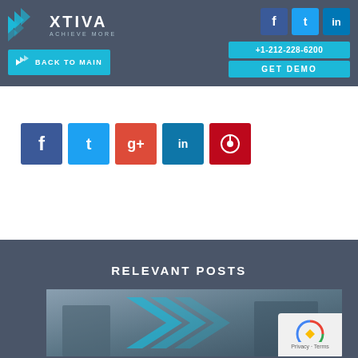[Figure (logo): Xtiva logo with chevron arrows icon and text XTIVA ACHIEVE MORE]
[Figure (infographic): Header navigation with Facebook, Twitter, LinkedIn social icons, phone number +1-212-228-6200, GET DEMO button, and BACK TO MAIN button]
[Figure (infographic): Social sharing icons row: Facebook (blue), Twitter (light blue), Google+ (red), LinkedIn (dark blue), Pinterest (red)]
RELEVANT POSTS
[Figure (photo): Business people in suits with Xtiva chevron graphic overlay]